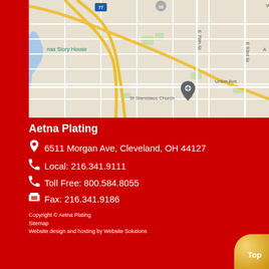[Figure (map): Google Maps showing area around St Stanislaus Church in Cleveland, OH. Shows roads including E 79th St, E 93rd St, Union Ave, with highway markers 77 and 10. Water features and green areas visible. Map pin on St Stanislaus Church location.]
Aetna Plating
6511 Morgan Ave, Cleveland, OH 44127
Local: 216.341.9111
Toll Free: 800.584.8055
Fax: 216.341.9186
Copyright © Aetna Plating
Sitemap
Website design and hosting by Website Solutions